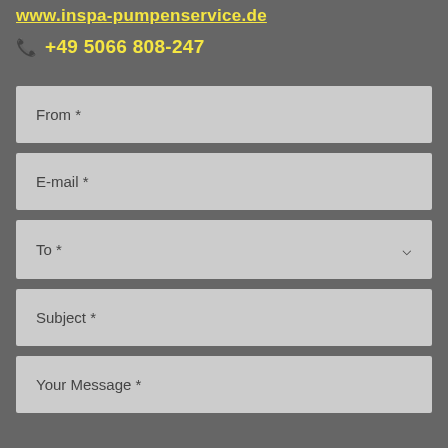www.inspa-pumpenservice.de
+49 5066 808-247
From *
E-mail *
To *
Subject *
Your Message *